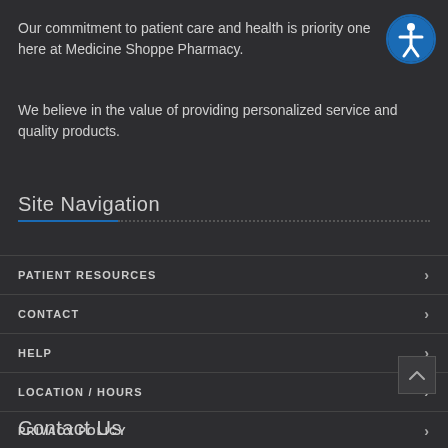Our commitment to patient care and health is priority one here at Medicine Shoppe Pharmacy.
We believe in the value of providing personalized service and quality products.
Site Navigation
PATIENT RESOURCES
CONTACT
HELP
LOCATION / HOURS
PRIVACY POLICY
Contact Us